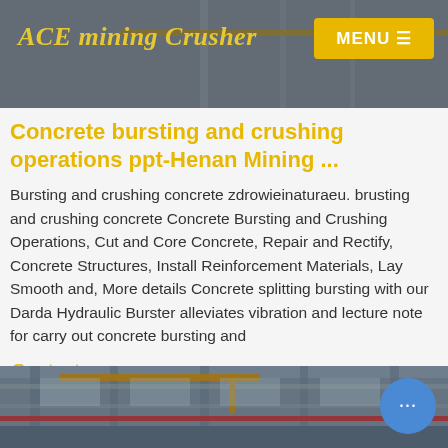ACE mining Crusher
Concrete bursting and crushing operations ppt-Henan Mining ...
Bursting and crushing concrete zdrowieinaturaeu. brusting and crushing concrete Concrete Bursting and Crushing Operations, Cut and Core Concrete, Repair and Rectify, Concrete Structures, Install Reinforcement Materials, Lay Smooth and, More details Concrete splitting bursting with our Darda Hydraulic Burster alleviates vibration and lecture note for carry out concrete bursting and
Contact us
[Figure (photo): Industrial factory interior with overhead cranes and structural steel beams]